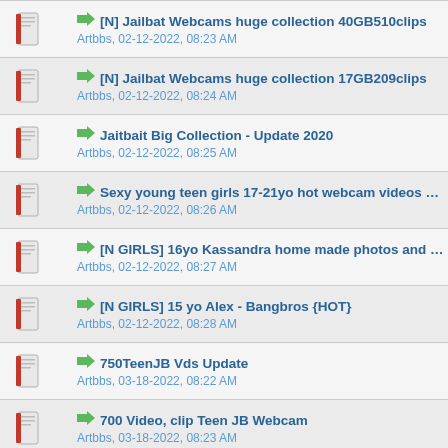[N] Jailbat Webcams huge collection 40GB510clips
Artbbs, 02-12-2022, 08:23 AM
[N] Jailbat Webcams huge collection 17GB209clips
Artbbs, 02-12-2022, 08:24 AM
Jaitbait Big Collection - Update 2020
Artbbs, 02-12-2022, 08:25 AM
Sexy young teen girls 17-21yo hot webcam videos 1-100
Artbbs, 02-12-2022, 08:26 AM
[N GIRLS] 16yo Kassandra home made photos and videos
Artbbs, 02-12-2022, 08:27 AM
[N GIRLS] 15 yo Alex - Bangbros {HOT}
Artbbs, 02-12-2022, 08:28 AM
750TeenJB Vds Update
Artbbs, 03-18-2022, 08:22 AM
700 Video, clip Teen JB Webcam
Artbbs, 03-18-2022, 08:23 AM
Big Big Very Big BOOBS Video Full SiteRip 1020 videos 3
Artbbs, 03-18-2022, 08:23 AM